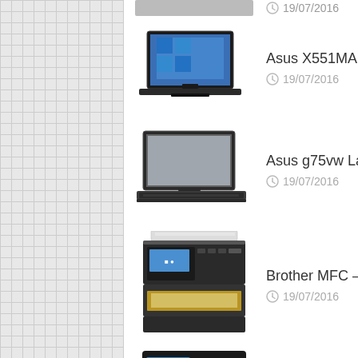Asus X551MA Latest Drivers Download For All Windows
19/07/2016
Asus g75vw Laptop Drivers Download
19/07/2016
Brother MFC – j4510DW Printer Drivers Download
19/07/2016
Brother 7860DW Driver Download For Windows 7, 8, 10
19/07/2016
Brother MFC – J430W Printer Drivers Download All For Windows
19/07/2016